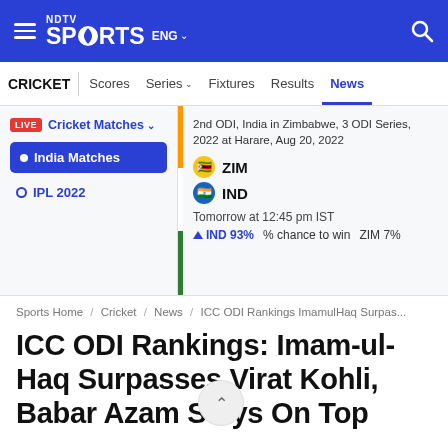NDTV Sports ENG
CRICKET  Scores  Series  Fixtures  Results  News
Cricket Matches LIVE | 2nd ODI, India in Zimbabwe, 3 ODI Series, 2022 at Harare, Aug 20, 2022 | ZIM | IND | Tomorrow at 12:45 pm IST | IND 93% chance to win ZIM 7%
India Matches
IPL 2022
Sports Home / Cricket / News / ICC ODI Rankings ImamulHaq Surpas...
ICC ODI Rankings: Imam-ul-Haq Surpasses Virat Kohli, Babar Azam Stays On Top